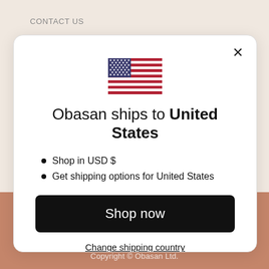CONTACT US
[Figure (illustration): US flag emoji icon centered in the modal]
Obasan ships to United States
Shop in USD $
Get shipping options for United States
Shop now
Change shipping country
Copyright © Obasan Ltd.